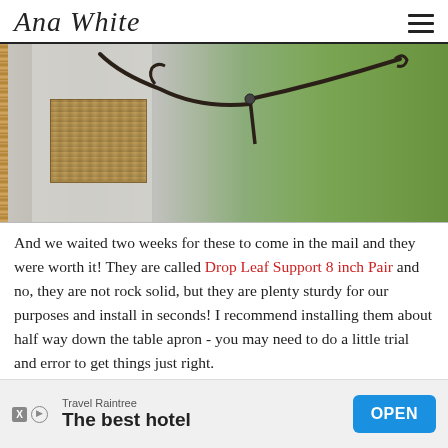Ana White
[Figure (photo): Close-up photo of drop leaf table support hardware mounted on a white wall, with a woven basket/rug visible and outdoor trees in background]
And we waited two weeks for these to come in the mail and they were worth it! They are called Drop Leaf Support 8 inch Pair and no, they are not rock solid, but they are plenty sturdy for our purposes and install in seconds! I recommend installing them about half way down the table apron - you may need to do a little trial and error to get things just right.
[Figure (other): Advertisement banner: Travel Raintree - The best hotel, with OPEN button]